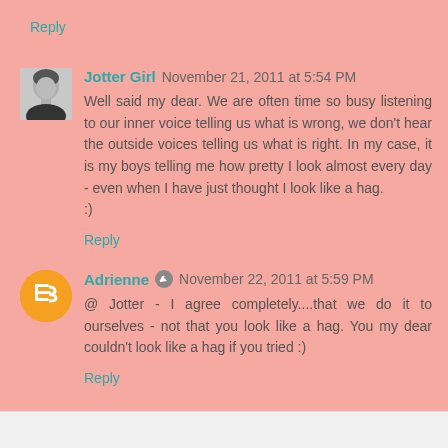Reply
Jotter Girl  November 21, 2011 at 5:54 PM
Well said my dear. We are often time so busy listening to our inner voice telling us what is wrong, we don't hear the outside voices telling us what is right. In my case, it is my boys telling me how pretty I look almost every day - even when I have just thought I look like a hag.
:)
Reply
Adrienne  November 22, 2011 at 5:59 PM
@ Jotter - I agree completely....that we do it to ourselves - not that you look like a hag. You my dear couldn't look like a hag if you tried :)
Reply